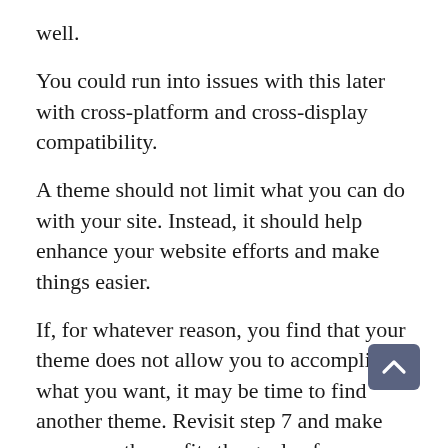well.
You could run into issues with this later with cross-platform and cross-display compatibility.
A theme should not limit what you can do with your site. Instead, it should help enhance your website efforts and make things easier.
If, for whatever reason, you find that your theme does not allow you to accomplish what you want, it may be time to find another theme. Revisit step 7 and make sure your theme fits the goals of your project before you move forward.
If you find that available themes do not do what you want your website to do, it may be necessary to move on to custom theme development, which can take more than 24 hours.